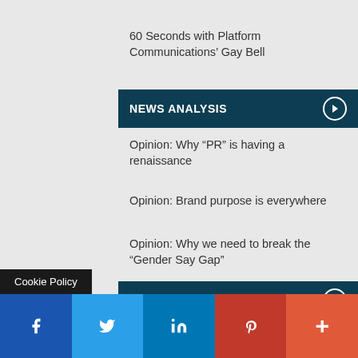60 Seconds with Platform Communications' Gay Bell
NEWS ANALYSIS
Opinion: Why “PR” is having a renaissance
Opinion: Brand purpose is everywhere
Opinion: Why we need to break the “Gender Say Gap”
PR CASE STUDIES
PR Case Study: Speed – BuzzBites
PR Case Study: AmazeRealise – #AutoTraderGoals
PR Case Study: Speed – Pitch Perfect for Orchestra